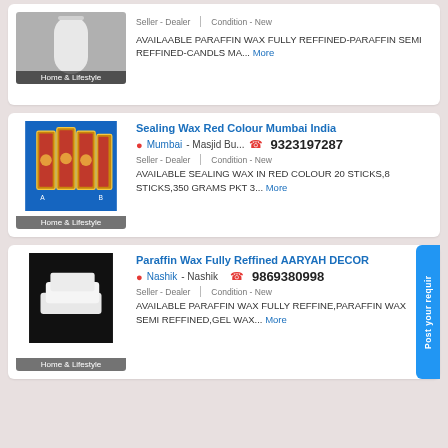[Figure (photo): White cylindrical candle on grey background with 'Home & Lifestyle' label]
Seller - Dealer    Condition - New
AVAILAABLE PARAFFIN WAX FULLY REFFINED-PARAFFIN SEMI REFFINED-CANDLS MA... More
[Figure (photo): Red sealing wax sticks product image on blue background with 'Home & Lifestyle' label]
Sealing Wax Red Colour Mumbai India
Mumbai - Masjid Bu... 9323197287
Seller - Dealer    Condition - New
AVAILABLE SEALING WAX IN RED COLOUR 20 STICKS,8 STICKS,350 GRAMS PKT 3... More
[Figure (photo): White paraffin wax blocks on black background with 'Home & Lifestyle' label]
Paraffin Wax Fully Reffined AARYAH DECOR
Nashik - Nashik   9869380998
Seller - Dealer    Condition - New
AVAILABLE PARAFFIN WAX FULLY REFFINE,PARAFFIN WAX SEMI REFFINED,GEL WAX... More